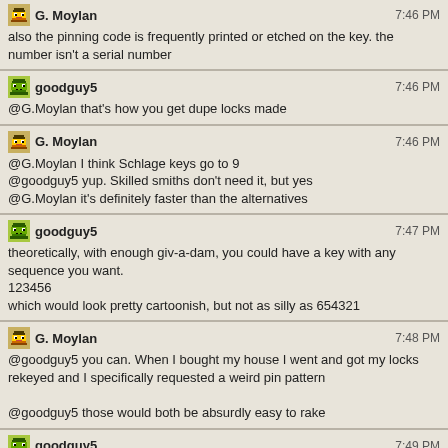G. Moylan 7:46 PM — also the pinning code is frequently printed or etched on the key. the number isn't a serial number
goodguy5 7:46 PM — @G.Moylan that's how you get dupe locks made
G. Moylan 7:46 PM — @G.Moylan I think Schlage keys go to 9 / @goodguy5 yup. Skilled smiths don't need it, but yes / @G.Moylan it's definitely faster than the alternatives
goodguy5 7:47 PM — theoretically, with enough giv-a-dam, you could have a key with any sequence you want. 123456 which would look pretty cartoonish, but not as silly as 654321
G. Moylan 7:48 PM — @goodguy5 you can. When I bought my house I went and got my locks rekeyed and I specifically requested a weird pin pattern / @goodguy5 those would both be absurdly easy to rake
goodguy5 7:49 PM — now, I'm wondering if whatever algorithm is used prevents certain combinations
Yuuki 7:49 PM — @G.Moylan 111111.